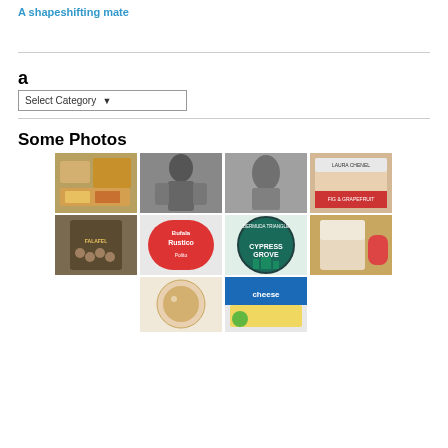A shapeshifting mate
a
[Figure (screenshot): Select Category dropdown UI element]
Some Photos
[Figure (photo): Grid of food and product photos including falafel, Bufala Rustico, Cypress Grove, Laura Chenel cheese products]
[Figure (photo): Two more photos in bottom row]